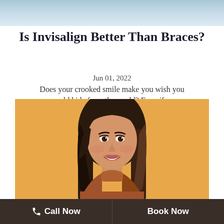[Figure (other): Teal/blue gradient header banner]
Is Invisalign Better Than Braces?
Jun 01, 2022
Does your crooked smile make you wish you could hide from the world? Even if...
[Figure (photo): Young woman with long brown hair smiling, wearing an orange/rust turtleneck sweater, photographed against a warm golden/amber background]
Call Now   Book Now